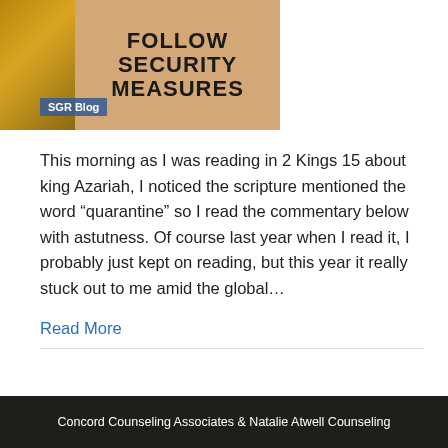[Figure (photo): Blog post thumbnail image showing text 'FOLLOW SECURITY MEASURES' on a wooden background with keys, with an 'SGR Blog' badge overlay]
This morning as I was reading in 2 Kings 15 about king Azariah, I noticed the scripture mentioned the word “quarantine” so I read the commentary below with astutness. Of course last year when I read it, I probably just kept on reading, but this year it really stuck out to me amid the global…
Read More
Older Posts »
Concord Counseling Associates & Natalie Atwell Counseling